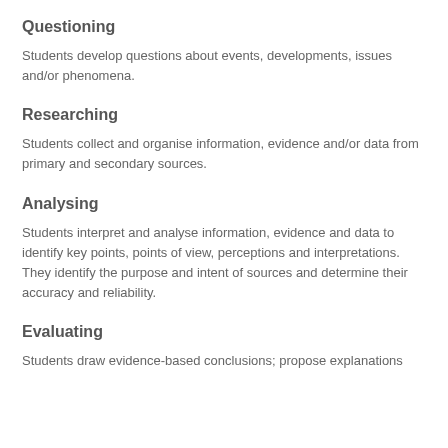Questioning
Students develop questions about events, developments, issues and/or phenomena.
Researching
Students collect and organise information, evidence and/or data from primary and secondary sources.
Analysing
Students interpret and analyse information, evidence and data to identify key points, points of view, perceptions and interpretations. They identify the purpose and intent of sources and determine their accuracy and reliability.
Evaluating
Students draw evidence-based conclusions; propose explanations